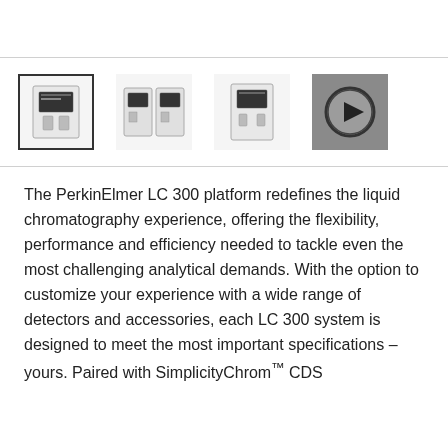[Figure (screenshot): Thumbnail image strip showing four product images of the PerkinElmer LC 300 chromatography system. First thumbnail is selected (bordered). Second and third show instrument configurations. Fourth is a video play button thumbnail.]
The PerkinElmer LC 300 platform redefines the liquid chromatography experience, offering the flexibility, performance and efficiency needed to tackle even the most challenging analytical demands. With the option to customize your experience with a wide range of detectors and accessories, each LC 300 system is designed to meet the most important specifications – yours. Paired with SimplicityChrom™ CDS